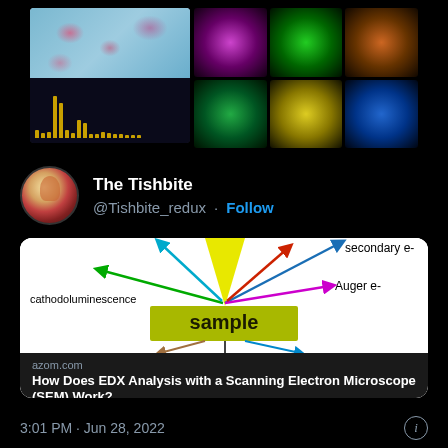[Figure (photo): Top portion of a Twitter/X post showing microscopy images: left side shows a fluorescence microscopy image of pink/magenta cells on blue background above an X-ray energy spectrum chart with yellow/gold peaks; right side shows a 2x3 grid of fluorescence microscopy images in various colors (purple, green, orange, green, yellow, blue)]
The Tishbite
@Tishbite_redux · Follow
[Figure (schematic): Scientific diagram showing arrows radiating outward from a central point above a yellow-green 'sample' box. Arrows are labeled: secondary e- (blue arrow, upper right), Auger e- (purple/magenta arrow, right), cathodoluminescence (green arrow, left). A cyan arrow points upper left and a red arrow points upper right. Below the sample box, brown and cyan arrows point downward-left and downward-right respectively. Yellow triangle represents incident beam.]
azom.com
How Does EDX Analysis with a Scanning Electron Microscope (SEM) Work?
3:01 PM · Jun 28, 2022